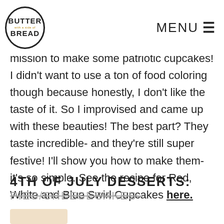BUTTER with a side of BREAD | MENU
mission to make some patriotic cupcakes! I didn't want to use a ton of food coloring though because honestly, I don't like the taste of it. So I improvised and came up with these beauties! The best part? They taste incredible- and they're still super festive! I'll show you how to make them- it's so simple. See the recipe for Red, White and Blue Swirl Cupcakes here.
4TH OF JULY DESSERTS: PIES/CHEESECAKES–